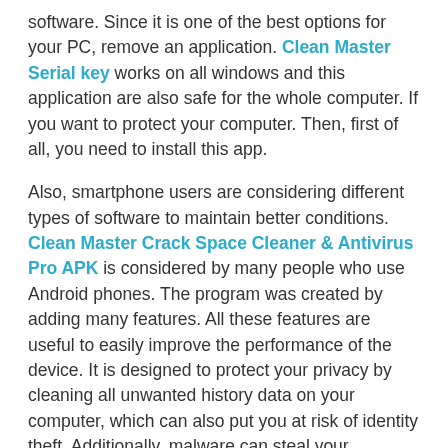software. Since it is one of the best options for your PC, remove an application. Clean Master Serial key works on all windows and this application are also safe for the whole computer. If you want to protect your computer. Then, first of all, you need to install this app.
Also, smartphone users are considering different types of software to maintain better conditions. Clean Master Crack Space Cleaner & Antivirus Pro APK is considered by many people who use Android phones. The program was created by adding many features. All these features are useful to easily improve the performance of the device. It is designed to protect your privacy by cleaning all unwanted history data on your computer, which can also put you at risk of identity theft. Additionally, malware can steal your information and cause permanent damage to your computer. Thanks to PC Scanner Pro's simple scanning process, any spyware on your computer will quickly erase it.